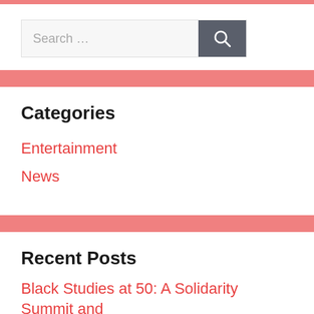[Figure (other): Search bar with text input field and dark grey search button with magnifying glass icon]
Categories
Entertainment
News
Recent Posts
Black Studies at 50: A Solidarity Summit and